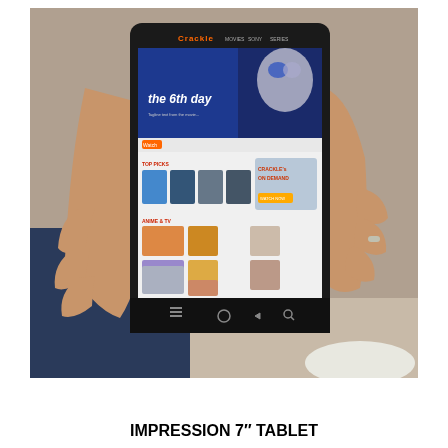[Figure (photo): A person holding a black Android tablet running the Crackle streaming app, which shows 'The 6th Day' movie banner at the top and a grid of movie/show thumbnails below. The person is seated, wearing a dark blue sweatshirt, with their legs visible in the foreground.]
IMPRESSION 7" TABLET